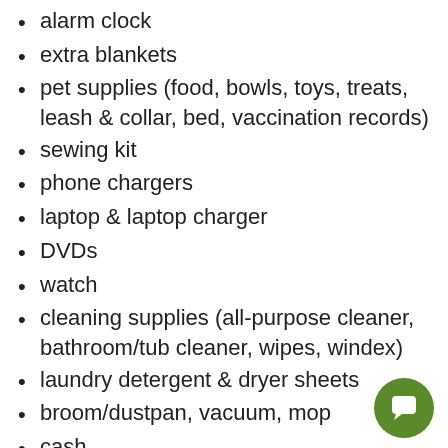alarm clock
extra blankets
pet supplies (food, bowls, toys, treats, leash & collar, bed, vaccination records)
sewing kit
phone chargers
laptop & laptop charger
DVDs
watch
cleaning supplies (all-purpose cleaner, bathroom/tub cleaner, wipes, windex)
laundry detergent & dryer sheets
broom/dustpan, vacuum, mop
cash
reservation confirmations
playing cards
board games
[Figure (illustration): Green circular chat button with white chat bubble icon in bottom-right corner]